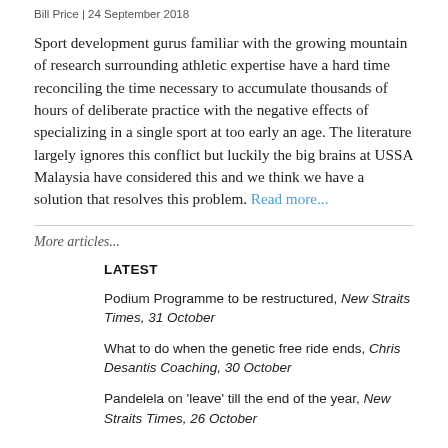Bill Price | 24 September 2018
Sport development gurus familiar with the growing mountain of research surrounding athletic expertise have a hard time reconciling the time necessary to accumulate thousands of hours of deliberate practice with the negative effects of specializing in a single sport at too early an age. The literature largely ignores this conflict but luckily the big brains at USSA Malaysia have considered this and we think we have a solution that resolves this problem. Read more...
More articles...
LATEST
Podium Programme to be restructured, New Straits Times, 31 October
What to do when the genetic free ride ends, Chris Desantis Coaching, 30 October
Pandelela on 'leave' till the end of the year, New Straits Times, 26 October